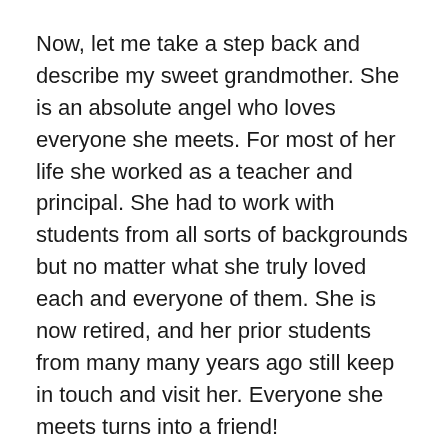Now, let me take a step back and describe my sweet grandmother. She is an absolute angel who loves everyone she meets. For most of her life she worked as a teacher and principal. She had to work with students from all sorts of backgrounds but no matter what she truly loved each and everyone of them. She is now retired, and her prior students from many many years ago still keep in touch and visit her. Everyone she meets turns into a friend!
I am always amazed by how much love she has to give. My grandma is such an inspiration to me. To be